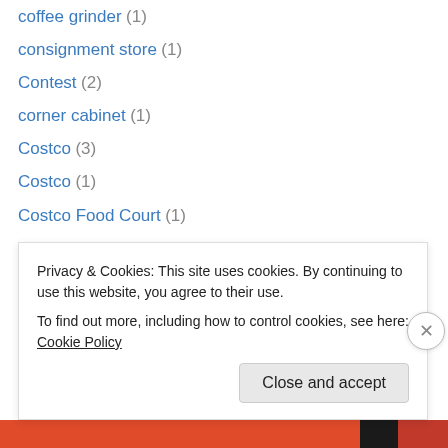coffee grinder (1)
consignment store (1)
Contest (2)
corner cabinet (1)
Costco (3)
Costco (1)
Costco Food Court (1)
coupons (7)
cozy mysteries (1)
Craft Fair (1)
crafts (2)
Craigslist (1)
Credit Freeze (1)
crockpot (2)
Privacy & Cookies: This site uses cookies. By continuing to use this website, you agree to their use. To find out more, including how to control cookies, see here: Cookie Policy
Close and accept